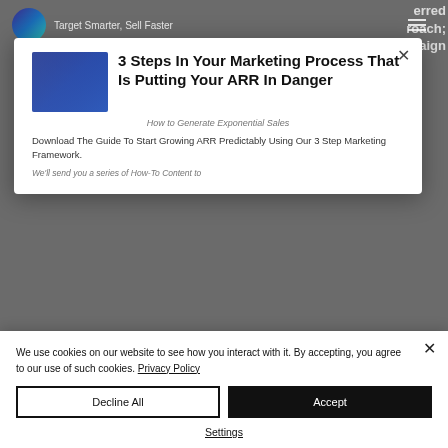[Figure (screenshot): Website screenshot showing logo with tagline 'Target Smarter, Sell Faster', hamburger menu icon, and partially visible page text including 'erred', 'roach;', 'mpaign', 'that brought McDonalds a from simple', 'food primary and Potential to the franchise', 'How to Generate Exponential Sales', 'Download The Guide To Start Growing ARR Predictably Using Our 3 Step Marketing Framework.', 'We'll send you a series of How-To Content to', 'To create a unique and innovative...']
3 Steps In Your Marketing Process That Is Putting Your ARR In Danger
Download The Guide To Start Growing ARR Predictably Using Our 3 Step Marketing Framework.
We use cookies on our website to see how you interact with it. By accepting, you agree to our use of such cookies. Privacy Policy
Decline All
Accept
Settings